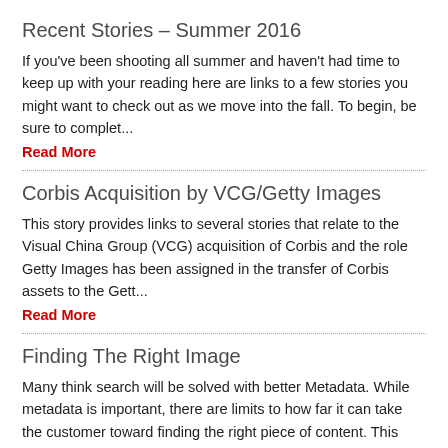Recent Stories – Summer 2016
If you've been shooting all summer and haven't had time to keep up with your reading here are links to a few stories you might want to check out as we move into the fall. To begin, be sure to complet...
Read More
Corbis Acquisition by VCG/Getty Images
This story provides links to several stories that relate to the Visual China Group (VCG) acquisition of Corbis and the role Getty Images has been assigned in the transfer of Corbis assets to the Gett...
Read More
Finding The Right Image
Many think search will be solved with better Metadata. While metadata is important, there are limits to how far it can take the customer toward finding the right piece of content. This story provides...
Read More